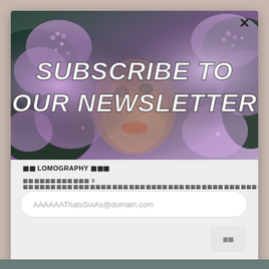[Figure (photo): Newsletter subscription modal popup. Hero image shows a person's face partially hidden behind purple/lilac flowers with dark green leaves. Bold white text overlaid reads 'SUBSCRIBE TO OUR NEWSLETTER'.]
▦▦ LOMOGRAPHY ▦▦▦
▦▦▦▦▦▦▦▦▦▦▦▦ 9 ▦▦▦▦▦▦▦▦▦▦▦▦▦▦▦▦▦▦▦▦▦▦▦▦▦▦▦▦▦▦▦▦▦▦▦▦▦▦▦▦▦▦▦▦
AAAAAAThatsSixAs@domain.com
▦▦